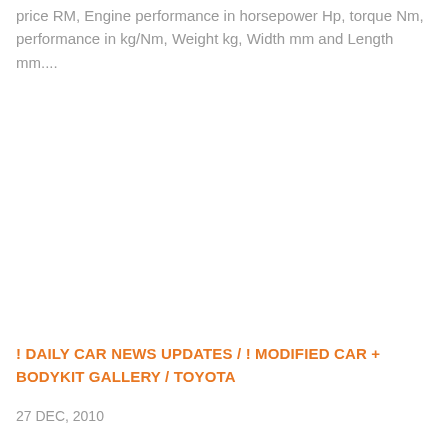price RM, Engine performance in horsepower Hp, torque Nm, performance in kg/Nm, Weight kg, Width mm and Length mm....
! DAILY CAR NEWS UPDATES / ! MODIFIED CAR + BODYKIT GALLERY / TOYOTA
27 DEC, 2010